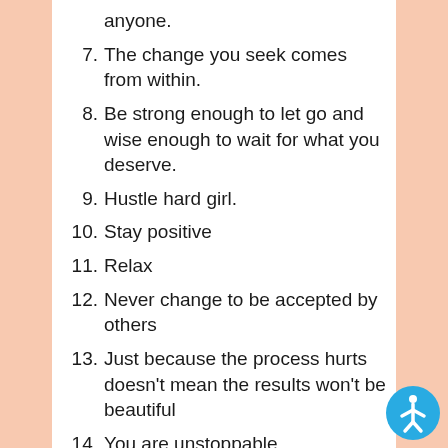anyone.
7. The change you seek comes from within.
8. Be strong enough to let go and wise enough to wait for what you deserve.
9. Hustle hard girl.
10. Stay positive
11. Relax
12. Never change to be accepted by others
13. Just because the process hurts doesn't mean the results won't be beautiful
14. You are unstoppable